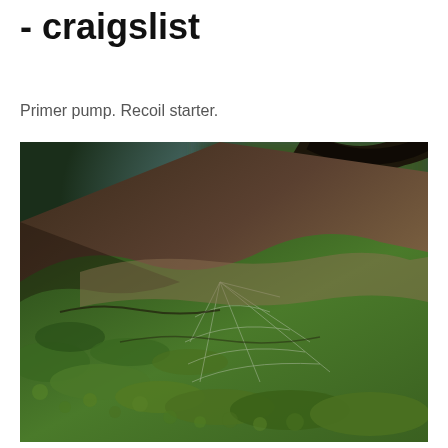- craigslist
Primer pump. Recoil starter.
[Figure (photo): Close-up photograph of a moss-covered tree trunk or rock surface with a spider web visible, green moss in foreground and blurred forest background with bokeh light spots]